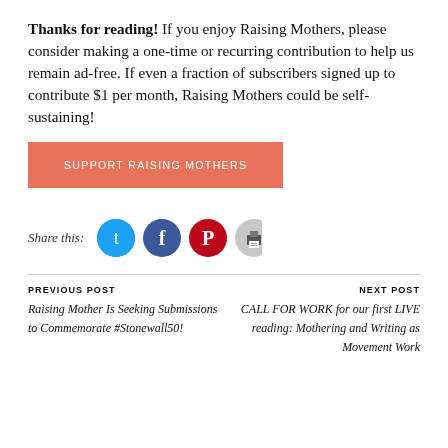Thanks for reading! If you enjoy Raising Mothers, please consider making a one-time or recurring contribution to help us remain ad-free. If even a fraction of subscribers signed up to contribute $1 per month, Raising Mothers could be self-sustaining!
SUPPORT RAISING MOTHERS
Share this:
[Figure (infographic): Social share icons: Twitter (blue circle), Facebook (dark blue circle), Pinterest (red circle), Print (gray circle)]
PREVIOUS POST
Raising Mother Is Seeking Submissions to Commemorate #Stonewall50!
NEXT POST
CALL FOR WORK for our first LIVE reading: Mothering and Writing as Movement Work